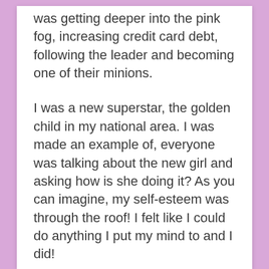was getting deeper into the pink fog, increasing credit card debt, following the leader and becoming one of their minions.
I was a new superstar, the golden child in my national area. I was made an example of, everyone was talking about the new girl and asking how is she doing it? As you can imagine, my self-esteem was through the roof! I felt like I could do anything I put my mind to and I did!
Within just four months of signing my beauty agreement I earned my first four something car...